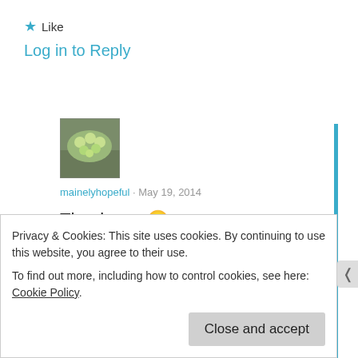★ Like
Log in to Reply
[Figure (photo): Avatar image of a green floral arrangement]
mainelyhopeful · May 19, 2014
Thank you 🙂
★ Like
Log in to Reply
Privacy & Cookies: This site uses cookies. By continuing to use this website, you agree to their use.
To find out more, including how to control cookies, see here: Cookie Policy